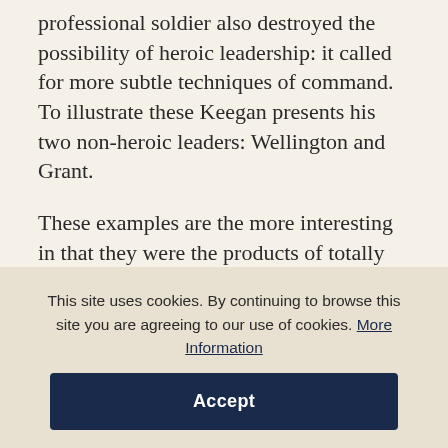proved. The growing scope of war which bred the professional soldier also destroyed the possibility of heroic leadership: it called for more subtle techniques of command. To illustrate these Keegan presents his two non-heroic leaders: Wellington and Grant.
These examples are the more interesting in that they were the products of totally different types of society. Wellington belonged to a pre-revolutionary, feudal world, in that landowning and the social privileges which went with it were
This site uses cookies. By continuing to browse this site you are agreeing to our use of cookies. More Information
Accept